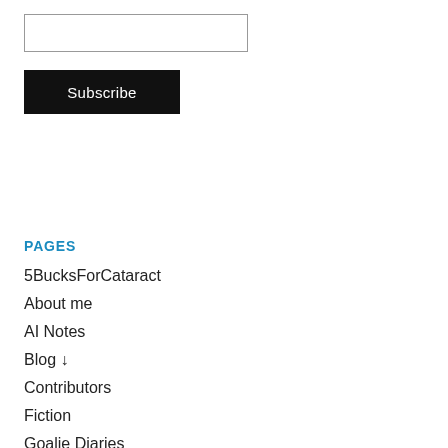[Figure (other): Email input text field (empty, with border)]
Subscribe
PAGES
5BucksForCataract
About me
AI Notes
Blog ↓
Contributors
Fiction
Goalie Diaries
Guest Posts